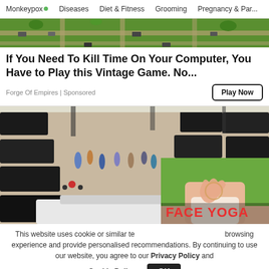Monkeypox · Diseases · Diet & Fitness · Grooming · Pregnancy & Par...
[Figure (screenshot): Top portion of a game advertisement banner showing a top-down strategy game map with green terrain and vehicles.]
If You Need To Kill Time On Your Computer, You Have to Play this Vintage Game. No...
Forge Of Empires | Sponsored
[Figure (photo): Large parking lot or auction area filled with many black cars and people walking among them.]
[Figure (photo): Video overlay thumbnail showing a person making a heart shape with their hands in front of their face, with 'FACE YOGA' text in red.]
This website uses cookie or similar te... browsing experience and provide personalised recommendations. By continuing to use our website, you agree to our Privacy Policy and Cookie Policy.